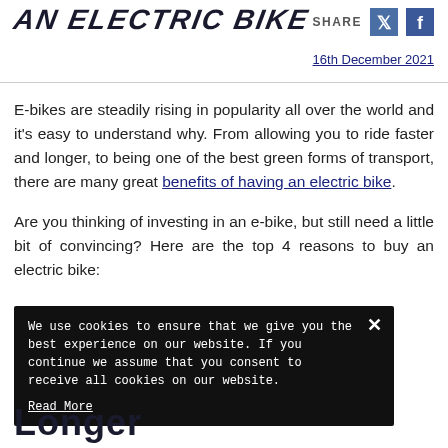AN ELECTRIC BIKE
SHARE
16th December 2021
E-bikes are steadily rising in popularity all over the world and it's easy to understand why. From allowing you to ride faster and longer, to being one of the best green forms of transport, there are many great benefits of having an electric bike.
Are you thinking of investing in an e-bike, but still need a little bit of convincing? Here are the top 4 reasons to buy an electric bike:
We use cookies to ensure that we give you the best experience on our website. If you continue we assume that you consent to receive all cookies on our website. Read More
Longer